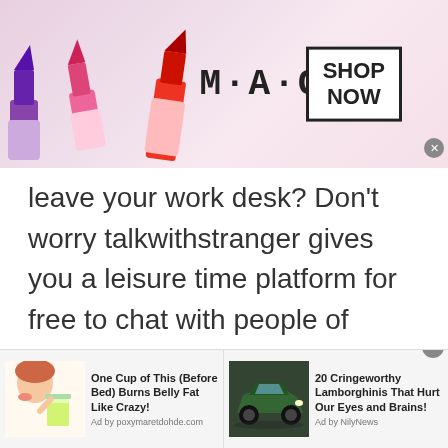[Figure (illustration): MAC cosmetics advertisement banner with colorful lipsticks on the left, MAC logo in the center, and a 'SHOP NOW' button in a rectangle on the right. A close (x) button appears in the lower right corner.]
leave your work desk? Don't worry talkwithstranger gives you a leisure time platform for free to chat with people of Tajikistan without having to leave your place but wanna get some air and fun chats online with people of Tajikistan. A fantastic
[Figure (illustration): Bottom advertisement strip showing two ads side by side: left ad shows a woman drinking from a glass with text 'One Cup of This (Before Bed) Burns Belly Fat Like Crazy!' by poxymaretdohde.com; right ad shows a green Lamborghini with text '20 Cringeworthy Lamborghinis That Hurt Our Eyes and Brains!' by NilyNews.]